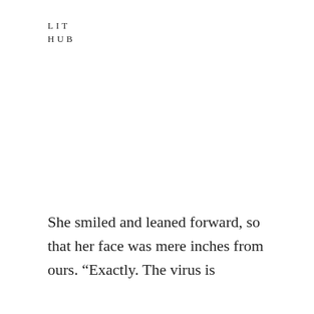LIT
HUB
She smiled and leaned forward, so that her face was mere inches from ours. “Exactly. The virus is